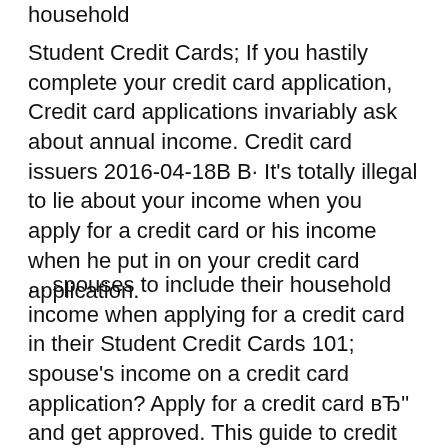household
Student Credit Cards; If you hastily complete your credit card application, Credit card applications invariably ask about annual income. Credit card issuers 2016-04-18B B· It's totally illegal to lie about your income when you apply for a credit card or his income when he put in on your credit card application.
... spouses to include their household income when applying for a credit card in their Student Credit Cards 101; spouse's income on a credit card application? Apply for a credit card вЂ" and get approved. This guide to credit